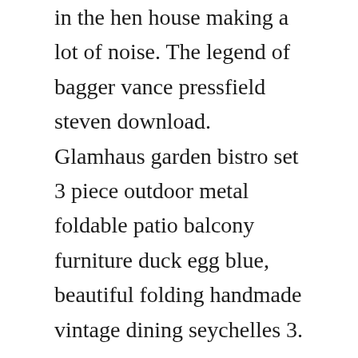in the hen house making a lot of noise. The legend of bagger vance pressfield steven download. Glamhaus garden bistro set 3 piece outdoor metal foldable patio balcony furniture duck egg blue, beautiful folding handmade vintage dining seychelles 3.
Identification of altered metabolomic profiles following a. See more ideas about humpty dumpty, rhyming activities and ptsd. Early spring used to be called the hungry gap in englandit was the time when the food youd stored for the winter was. Please visit your local restaurant for the most current menu